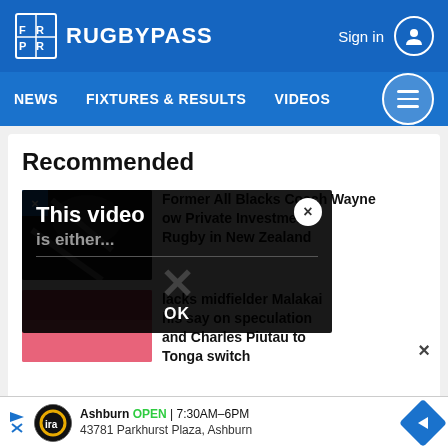RUGBYPASS
NEWS   FIXTURES & RESULTS   VIDEOS
Recommended
Former All Blacks Coach Wayne ow Private Investment Rugby in New Zealand
[Figure (screenshot): Video error overlay popup with text 'This video is either...' and OK button]
lacks midfielder Malakai his say on speculation and Charles Piutau to Tonga switch
[Figure (screenshot): Pink/red thumbnail image partially visible at bottom]
Ashburn OPEN | 7:30AM–6PM  43781 Parkhurst Plaza, Ashburn